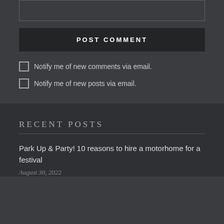[Figure (other): Text input box (truncated at top of page)]
POST COMMENT
Notify me of new comments via email.
Notify me of new posts via email.
RECENT POSTS
Park Up & Party! 10 reasons to hire a motorhome for a festival
August 30, 2022